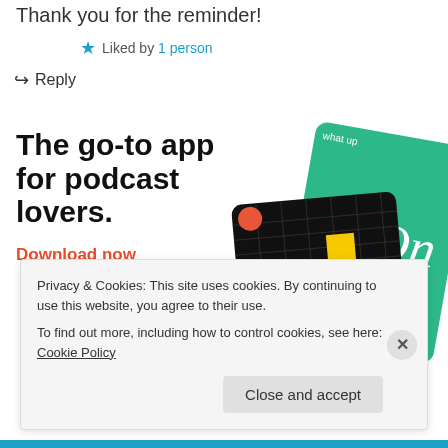Thank you for the reminder!
★ Liked by 1 person
↪ Reply
[Figure (infographic): Advertisement for a podcast app. Large bold text reads 'The go-to app for podcast lovers.' with an orange-red 'Download now' link. Right side shows stylized app cards including a black grid card with a yellow square labeled '99% INVISIBLE' and a green card with script text 'On'.]
Privacy & Cookies: This site uses cookies. By continuing to use this website, you agree to their use.
To find out more, including how to control cookies, see here: Cookie Policy
Close and accept